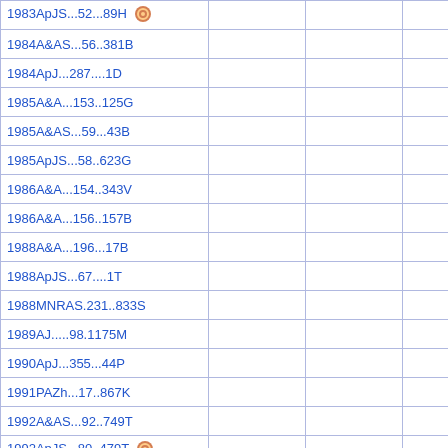|  |  |  |  |
| --- | --- | --- | --- |
| 1983ApJS...52...89H [icon] |  |  |  |
| 1984A&AS...56..381B |  |  |  |
| 1984ApJ...287....1D |  |  |  |
| 1985A&A...153..125G |  |  |  |
| 1985A&AS...59...43B |  |  |  |
| 1985ApJS...58..623G |  |  |  |
| 1986A&A...154..343V |  |  |  |
| 1986A&A...156..157B |  |  |  |
| 1988A&A...196...17B |  |  |  |
| 1988ApJS...67....1T |  |  |  |
| 1988MNRAS.231..833S |  |  |  |
| 1989AJ.....98.1175M |  |  |  |
| 1990ApJ...355...44P |  |  |  |
| 1991PAZh...17..867K |  |  |  |
| 1992A&AS...92..749T |  |  |  |
| 1992ApJS...80..479T [icon] |  |  |  |
| 1993AJ....105.1271G [icon] |  |  |  |
| 1993ApJ...405..464Z |  |  |  |
| 1994AJ....108..896M [icon] |  |  |  |